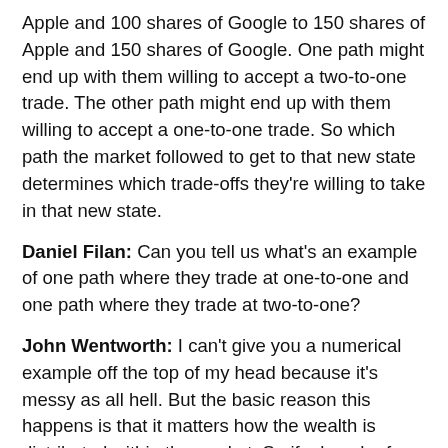Apple and 100 shares of Google to 150 shares of Apple and 150 shares of Google. One path might end up with them willing to accept a two-to-one trade. The other path might end up with them willing to accept a one-to-one trade. So which path the market followed to get to that new state determines which trade-offs they're willing to take in that new state.
Daniel Filan: Can you tell us what's an example of one path where they trade at one-to-one and one path where they trade at two-to-one?
John Wentworth: I can't give you a numerical example off the top of my head because it's messy as all hell. But the basic reason this happens is that it matters how the wealth is distributed within the market. So if a bunch of trades happen, which leaves someone who really likes Apple stock with a lot more of the internal wealth, they end up with more aggregate shares, then you're going to end up with prices more heavily favoring Apple. Whereas if it's